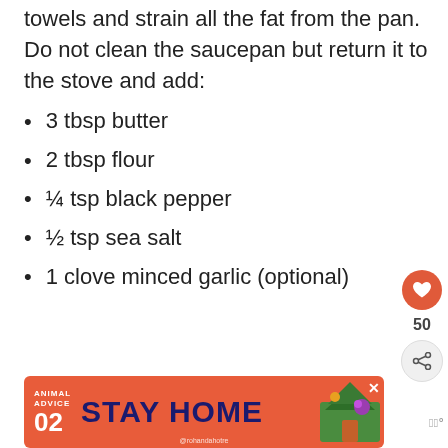towels and strain all the fat from the pan. Do not clean the saucepan but return it to the stove and add:
3 tbsp butter
2 tbsp flour
¼ tsp black pepper
½ tsp sea salt
1 clove minced garlic (optional)
[Figure (infographic): Advertisement banner: ANIMAL ADVICE 02 STAY HOME @rohandahotre with illustration]